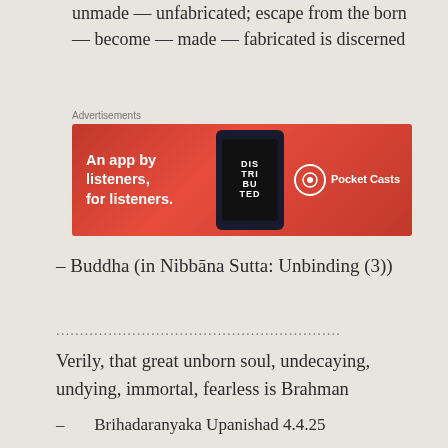unmade — unfabricated; escape from the born — become — made — fabricated is discerned
[Figure (screenshot): Pocket Casts advertisement banner: red background with bold white text 'An app by listeners, for listeners.' alongside a dark smartphone showing stylized text, and the Pocket Casts logo on the right.]
– Buddha (in Nibbāna Sutta: Unbinding (3))
............................................................
Verily, that great unborn soul, undecaying, undying, immortal, fearless is Brahman
– Brihadaranyaka Upanishad 4.4.25